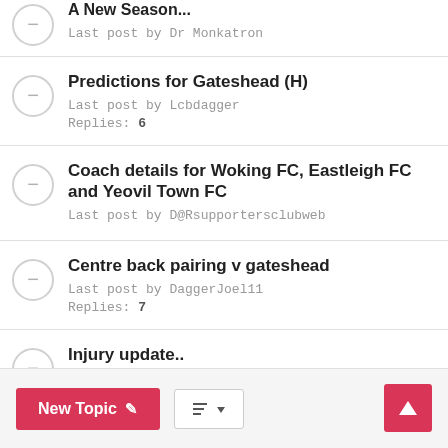A New Season... Last post by Dr Monkatron
Predictions for Gateshead (H)
Last post by Lcbdagger
Replies: 6
Coach details for Woking FC, Eastleigh FC and Yeovil Town FC
Last post by D@Rsupportersclubweb
Centre back pairing v gateshead
Last post by DaggerJoel11
Replies: 7
Injury update..
Last post by RayleighDagger1986
Replies: 6
New Topic | Sort | Scroll to top